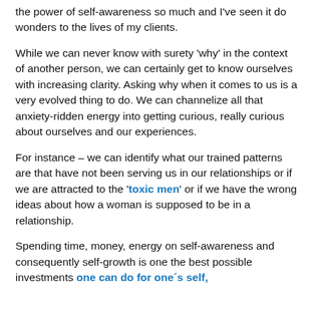the power of self-awareness so much and I've seen it do wonders to the lives of my clients.
While we can never know with surety 'why' in the context of another person, we can certainly get to know ourselves with increasing clarity. Asking why when it comes to us is a very evolved thing to do. We can channelize all that anxiety-ridden energy into getting curious, really curious about ourselves and our experiences.
For instance – we can identify what our trained patterns are that have not been serving us in our relationships or if we are attracted to the 'toxic men' or if we have the wrong ideas about how a woman is supposed to be in a relationship.
Spending time, money, energy on self-awareness and consequently self-growth is one the best possible investments one can do for one´s self,